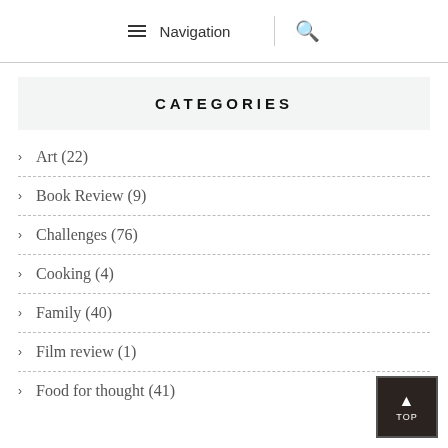Navigation | Search
CATEGORIES
Art (22)
Book Review (9)
Challenges (76)
Cooking (4)
Family (40)
Film review (1)
Food for thought (41)